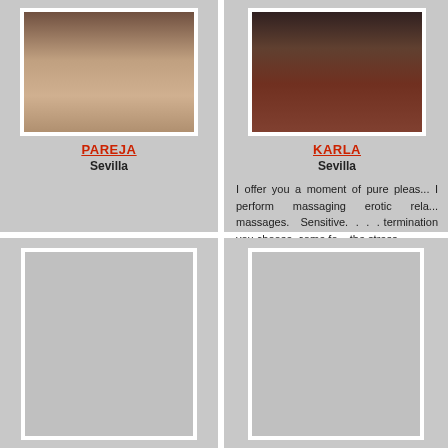[Figure (photo): Photo of PAREJA, top portion showing two figures on a bed]
PAREJA
Sevilla
[Figure (photo): Photo of KARLA, close-up body shot]
KARLA
Sevilla
I offer you a moment of pure pleas... I perform massaging erotic rela... massages. Sensitive. . . . termination you choose, come fo... the stress
[Figure (photo): Photo placeholder bottom left]
[Figure (photo): Photo placeholder bottom right]